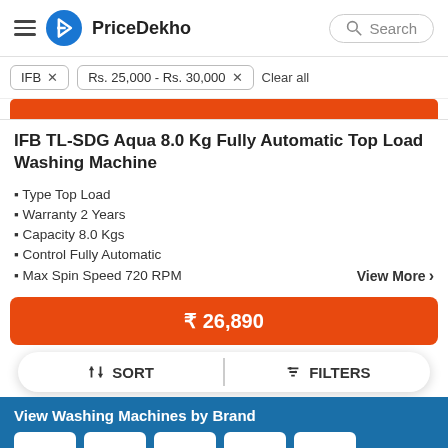PriceDekho
IFB ×   Rs. 25,000 - Rs. 30,000 ×   Clear all
IFB TL-SDG Aqua 8.0 Kg Fully Automatic Top Load Washing Machine
Type Top Load
Warranty 2 Years
Capacity 8.0 Kgs
Control Fully Automatic
Max Spin Speed 720 RPM
₹ 26,890
SORT   FILTERS
View Washing Machines by Brand